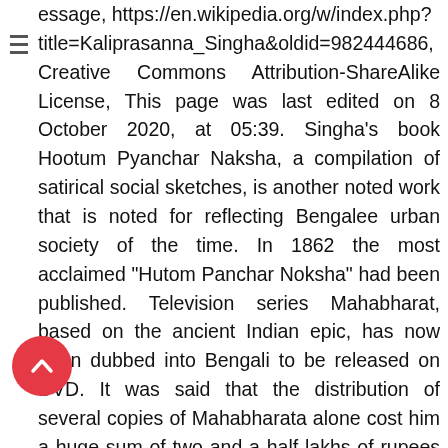essage, https://en.wikipedia.org/w/index.php?title=Kaliprasanna_Singha&oldid=982444686, Creative Commons Attribution-ShareAlike License, This page was last edited on 8 October 2020, at 05:39. Singha's book Hootum Pyanchar Naksha, a compilation of satirical social sketches, is another noted work that is noted for reflecting Bengalee urban society of the time. In 1862 the most acclaimed "Hutom Panchar Noksha" had been published. Television series Mahabharat, based on the ancient Indian epic, has now been dubbed into Bengali to be released on DVD. It was said that the distribution of several copies of Mahabharata alone cost him a huge sum of two and a half lakhs of rupees in those days. Mahabharat is an epic Indian television series based on the ancient Sanskrit epic of the same name.The original airing consisted of a total of ninety-four episodes and were broadcast from 2 October 1988 to 24 June 1990 on Doordarshan. Kaliprasanna Singha wrote Mahabharat in Bangla language. Download bangla